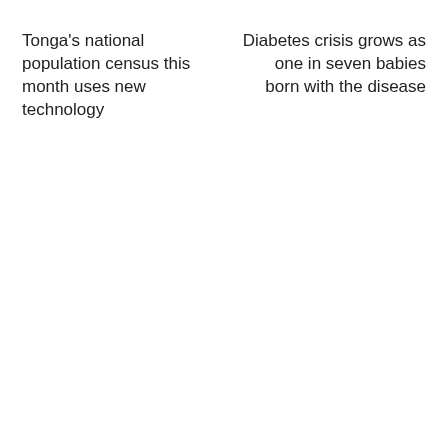Tonga's national population census this month uses new technology
Diabetes crisis grows as one in seven babies born with the disease